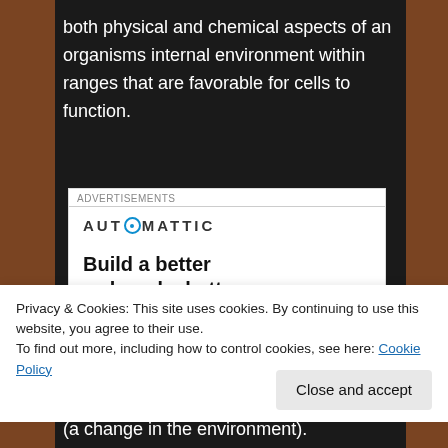both physical and chemical aspects of an organisms internal environment within ranges that are favorable for cells to function.
[Figure (screenshot): Automattic advertisement: 'Build a better web and a better world.' with Apply button and person silhouette]
Privacy & Cookies: This site uses cookies. By continuing to use this website, you agree to their use.
To find out more, including how to control cookies, see here: Cookie Policy
(a change in the environment).